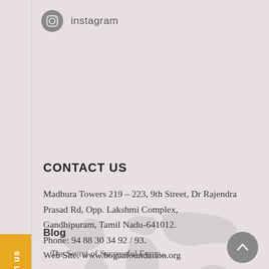[Figure (logo): Instagram camera icon (grey circle with camera outline)]
instagram
CONTACT US
Madhura Towers 219 – 223, 9th Street, Dr Rajendra Prasad Rd, Opp. Lakshmi Complex,
Gandhipuram, Tamil Nadu-641012.
Phone: 94 88 30 34 92 / 93.
Web Site: www.bogaafoundation.org
Blog
The Secret of Successful Europ...